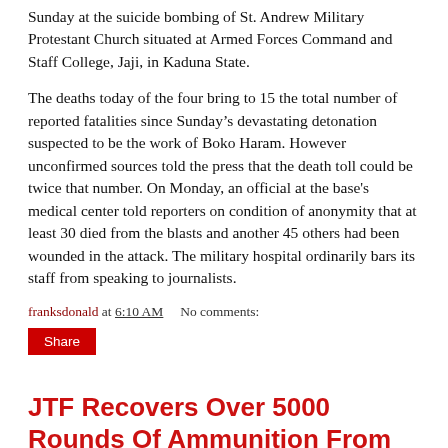Sunday at the suicide bombing of St. Andrew Military Protestant Church situated at Armed Forces Command and Staff College, Jaji, in Kaduna State.
The deaths today of the four bring to 15 the total number of reported fatalities since Sunday’s devastating detonation suspected to be the work of Boko Haram. However unconfirmed sources told the press that the death toll could be twice that number. On Monday, an official at the base's medical center told reporters on condition of anonymity that at least 30 died from the blasts and another 45 others had been wounded in the attack. The military hospital ordinarily bars its staff from speaking to journalists.
franksdonald at 6:10 AM    No comments:
Share
JTF Recovers Over 5000 Rounds Of Ammunition From Boko Haram Suspects In Damaturu
[Figure (photo): Photo partially visible at bottom of page, appears to be a news image related to the article about JTF recovering ammunition from Boko Haram suspects in Damaturu]